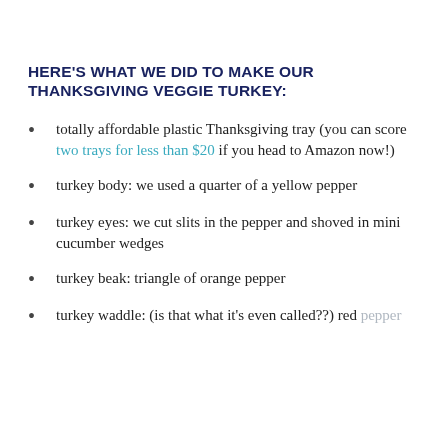HERE'S WHAT WE DID TO MAKE OUR THANKSGIVING VEGGIE TURKEY:
totally affordable plastic Thanksgiving tray (you can score two trays for less than $20 if you head to Amazon now!)
turkey body: we used a quarter of a yellow pepper
turkey eyes: we cut slits in the pepper and shoved in mini cucumber wedges
turkey beak: triangle of orange pepper
turkey waddle: (is that what it's even called??) red pepper